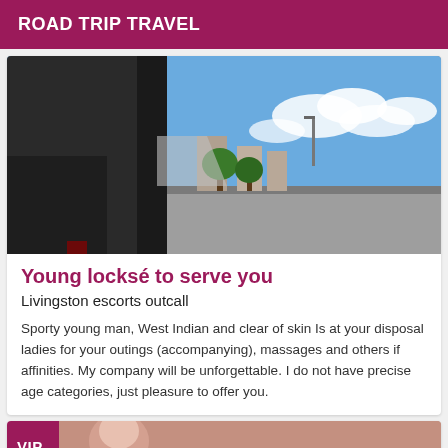ROAD TRIP TRAVEL
[Figure (photo): A photo taken from inside a car looking out through the windshield/window showing a street scene with trees, buildings, a road, and a blue sky with clouds. The image appears rotated 90 degrees.]
Young locksé to serve you
Livingston escorts outcall
Sporty young man, West Indian and clear of skin Is at your disposal ladies for your outings (accompanying), massages and others if affinities. My company will be unforgettable. I do not have precise age categories, just pleasure to offer you.
[Figure (photo): Partial view of a second listing card showing a VIP badge and a partial photo of a person.]